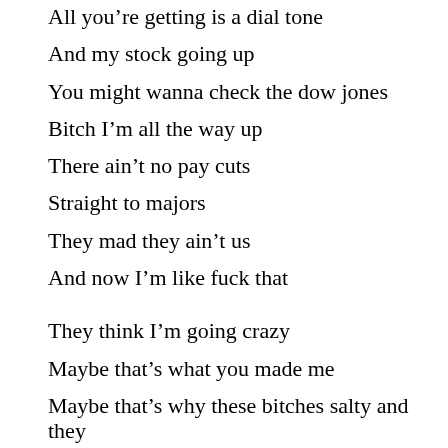All you're getting is a dial tone
And my stock going up
You might wanna check the dow jones
Bitch I'm all the way up
There ain't no pay cuts
Straight to majors
They mad they ain't us
And now I'm like fuck that
They think I'm going crazy
Maybe that's what you made me
Maybe that's why these bitches salty and they